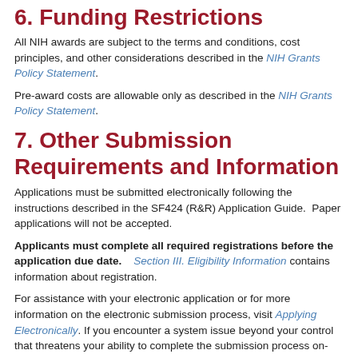6. Funding Restrictions
All NIH awards are subject to the terms and conditions, cost principles, and other considerations described in the NIH Grants Policy Statement.
Pre-award costs are allowable only as described in the NIH Grants Policy Statement.
7. Other Submission Requirements and Information
Applications must be submitted electronically following the instructions described in the SF424 (R&R) Application Guide.  Paper applications will not be accepted.
Applicants must complete all required registrations before the application due date. Section III. Eligibility Information contains information about registration.
For assistance with your electronic application or for more information on the electronic submission process, visit Applying Electronically. If you encounter a system issue beyond your control that threatens your ability to complete the submission process on-time, you must follow the Guidelines for Applicants Experiencing System Issues. For assistance with application submission, contact